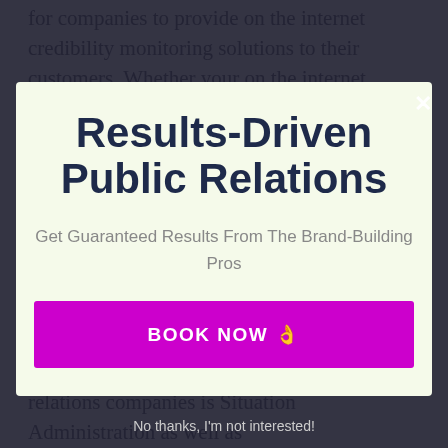for companies to provide on the internet credibility monitoring solutions to their customers. Whether your on the internet evaluations and credibility are
[Figure (screenshot): Modal popup overlay with title 'Results-Driven Public Relations', subtitle 'Get Guaranteed Results From The Brand-Building Pros', and a magenta 'BOOK NOW' button with pointing finger emoji. A white X close button appears at top right. Background shows article text partially obscured by dark overlay.]
An additional solution that is extensively approved as usual practice among public relations companies is Situation Administration as well as
No thanks, I'm not interested!